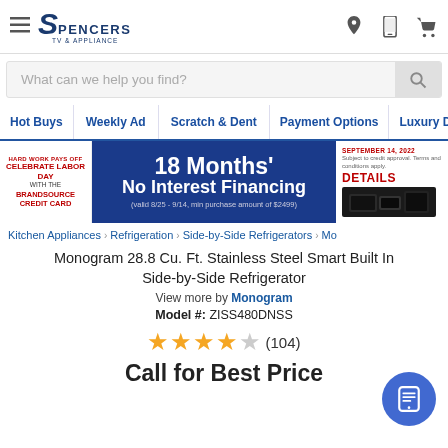Spencers TV & Appliance — navigation header with hamburger menu, logo, location icon, phone icon, cart icon
What can we help you find?
Hot Buys | Weekly Ad | Scratch & Dent | Payment Options | Luxury D
[Figure (infographic): Promotional banner: Hard Work Pays Off – Celebrate Labor Day with the BrandSource Credit Card. 18 Months No Interest Financing (valid 8/25 - 9/14, min purchase amount of $2499). September 14, 2022. Details. Appliance product images on dark background.]
Kitchen Appliances › Refrigeration › Side-by-Side Refrigerators › Mo
Monogram 28.8 Cu. Ft. Stainless Steel Smart Built In Side-by-Side Refrigerator
View more by Monogram
Model #: ZISS480DNSS
★★★★☆ (104)
Call for Best Price